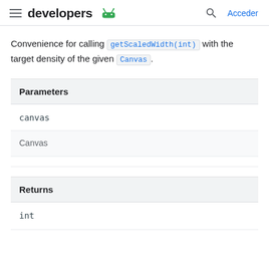developers | Acceder
Convenience for calling getScaledWidth(int) with the target density of the given Canvas.
| Parameters |
| --- |
| canvas |
| Canvas |
| Returns |
| --- |
| int |